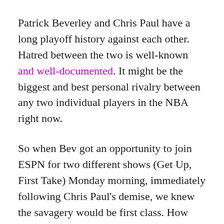Patrick Beverley and Chris Paul have a long playoff history against each other. Hatred between the two is well-known and well-documented. It might be the biggest and best personal rivalry between any two individual players in the NBA right now.
So when Bev got an opportunity to join ESPN for two different shows (Get Up, First Take) Monday morning, immediately following Chris Paul's demise, we knew the savagery would be first class. How bad was CP3, in reality? Pretty bad.
The Mavs went at him when they had the ball on offense and used that to wear down the 37-year-old veteran. Paul averaged 9.4 points per game over the first 5 games vs Dallas. Over 5 f...